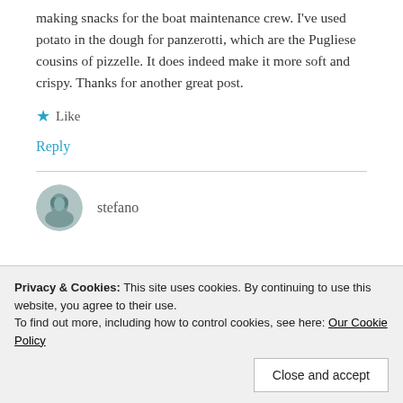making snacks for the boat maintenance crew. I've used potato in the dough for panzerotti, which are the Pugliese cousins of pizzelle. It does indeed make it more soft and crispy. Thanks for another great post.
Like
Reply
stefano
Privacy & Cookies: This site uses cookies. By continuing to use this website, you agree to their use.
To find out more, including how to control cookies, see here: Our Cookie Policy
Close and accept